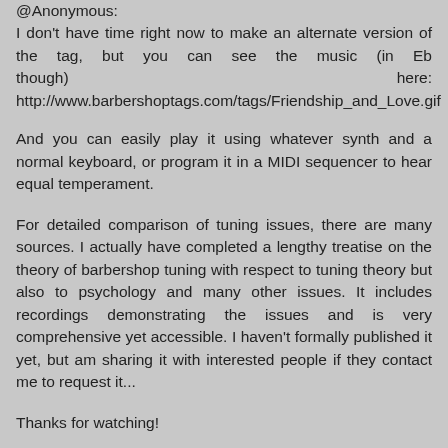@Anonymous:
I don't have time right now to make an alternate version of the tag, but you can see the music (in Eb though) here: http://www.barbershoptags.com/tags/Friendship_and_Love.gif
And you can easily play it using whatever synth and a normal keyboard, or program it in a MIDI sequencer to hear equal temperament.
For detailed comparison of tuning issues, there are many sources. I actually have completed a lengthy treatise on the theory of barbershop tuning with respect to tuning theory but also to psychology and many other issues. It includes recordings demonstrating the issues and is very comprehensive yet accessible. I haven't formally published it yet, but am sharing it with interested people if they contact me to request it...
Thanks for watching!
Re...